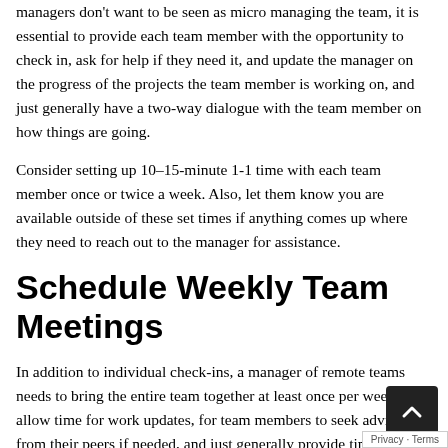managers don't want to be seen as micro managing the team, it is essential to provide each team member with the opportunity to check in, ask for help if they need it, and update the manager on the progress of the projects the team member is working on, and just generally have a two-way dialogue with the team member on how things are going.
Consider setting up 10–15-minute 1-1 time with each team member once or twice a week. Also, let them know you are available outside of these set times if anything comes up where they need to reach out to the manager for assistance.
Schedule Weekly Team Meetings
In addition to individual check-ins, a manager of remote teams needs to bring the entire team together at least once per week to allow time for work updates, for team members to seek advice from their peers if needed, and just generally provide time for...